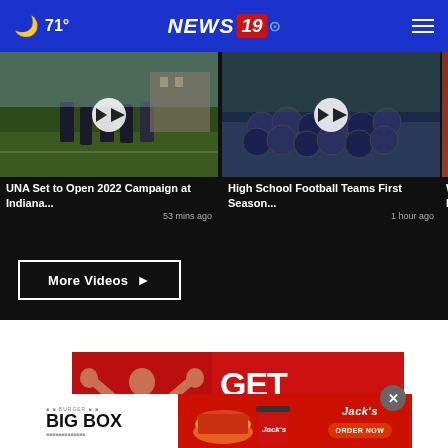🌙 71° | NEWS 19
[Figure (screenshot): Video thumbnail: UNA Set to Open 2022 Campaign at Indiana... 53 mins ago]
[Figure (screenshot): Video thumbnail: High School Football Teams First Season... 1 hour ago]
[Figure (screenshot): Video thumbnail: Wellst... Increa... (partially visible)]
More Videos ▶
[Figure (infographic): GET DOWN advertisement with woman flexing arms on red background]
[Figure (infographic): Burger Jack's BIG BOX advertisement with ORDER NOW button]